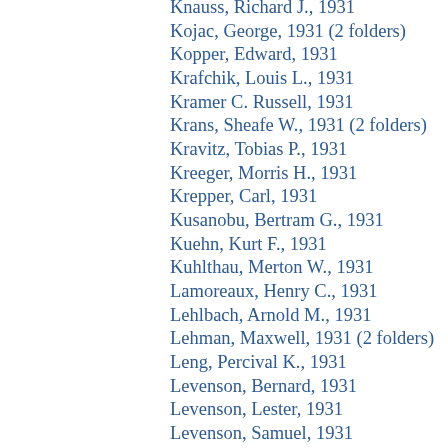Knauss, Richard J., 1931
Kojac, George, 1931 (2 folders)
Kopper, Edward, 1931
Krafchik, Louis L., 1931
Kramer C. Russell, 1931
Krans, Sheafe W., 1931 (2 folders)
Kravitz, Tobias P., 1931
Kreeger, Morris H., 1931
Krepper, Carl, 1931
Kusanobu, Bertram G., 1931
Kuehn, Kurt F., 1931
Kuhlthau, Merton W., 1931
Lamoreaux, Henry C., 1931
Lehlbach, Arnold M., 1931
Lehman, Maxwell, 1931 (2 folders)
Leng, Percival K., 1931
Levenson, Bernard, 1931
Levenson, Lester, 1931
Levenson, Samuel, 1931
Levin, I. Victor, 1931
Levitov, Charles J., 1931